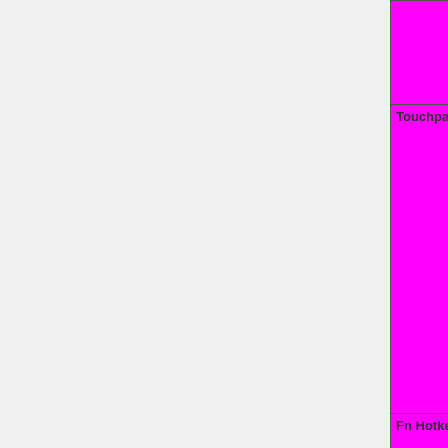| Feature | Status |
| --- | --- |
|  | N/A=lightgray yellow }}" | N/A |
| Touchpad | OK=lime | TODO=red | No=red | WIP=orange | Untested=yellow | N/A=lightgray yellow }}" | N/A |
| Fn Hotkeys | OK=lime | TODO=red | No=red | WIP=orange | Untested=yellow | N/A=lightgray yellow }}" | N/A |
| Fingerprint Reader | OK=lime | TODO=red | No=red | WIP=orange | Untested=yellow | N/A=lightgray yellow }}" | N/A |